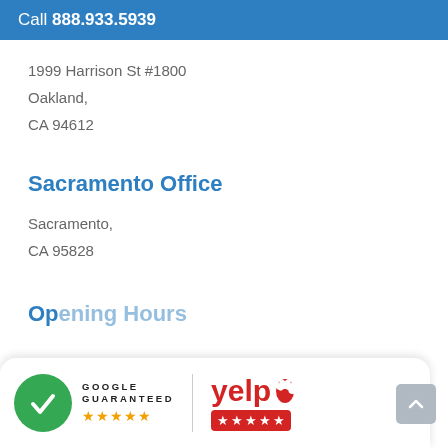Call 888.933.5939
1999 Harrison St #1800
Oakland,
CA 94612
Sacramento Office
Sacramento,
CA 95828
Opening Hours
[Figure (logo): Google Guaranteed badge with green checkmark circle and 5 orange stars]
[Figure (logo): Yelp logo with 5 red stars rating badge]